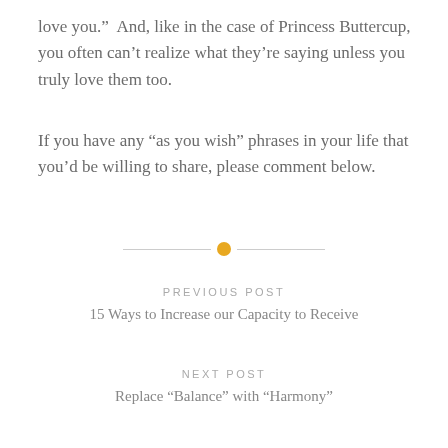love you.”  And, like in the case of Princess Buttercup, you often can’t realize what they’re saying unless you truly love them too.
If you have any “as you wish” phrases in your life that you’d be willing to share, please comment below.
[Figure (other): Decorative horizontal divider with a gold/amber circle in the center and lines on either side]
PREVIOUS POST
15 Ways to Increase our Capacity to Receive
NEXT POST
Replace “Balance” with “Harmony”